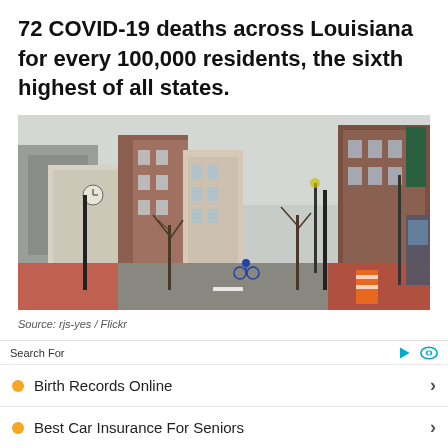72 COVID-19 deaths across Louisiana for every 100,000 residents, the sixth highest of all states.
[Figure (photo): Street-level photo of a quiet urban downtown area with brick buildings, bare trees, traffic lights, a cyclist, and an orange construction barrel. City appears nearly empty.]
Source: rjs-yes / Flickr
Search For
Birth Records Online
Best Car Insurance For Seniors